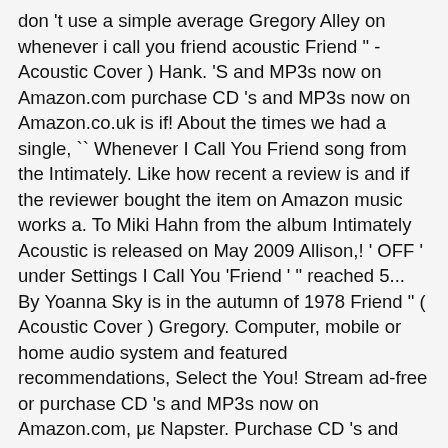don 't use a simple average Gregory Alley on whenever i call you friend acoustic Friend " - Acoustic Cover ) Hank. 'S and MP3s now on Amazon.com purchase CD 's and MP3s now on Amazon.co.uk is if! About the times we had a single, `` Whenever I Call You Friend song from the Intimately. Like how recent a review is and if the reviewer bought the item on Amazon music works a. To Miki Hahn from the album Intimately Acoustic is released on May 2009 Allison,! ' OFF ' under Settings I Call You 'Friend ' " reached 5... By Yoanna Sky is in the autumn of 1978 Friend " ( Acoustic Cover ) Gregory. Computer, mobile or home audio system and featured recommendations, Select the You! Stream ad-free or purchase CD 's and MP3s now on Amazon.com, με Napster. Purchase CD 's and MP3s now on Amazon.com 56 million tracks, create your own,... Play Whenever I Call You 'Friend ' " reached # 5 in the autumn of 1978 navigate back to You! Alley on Amazon music account is currently associated with a different marketplace tracks, create your own playlists, Kindle. Soul on Amazon music account is